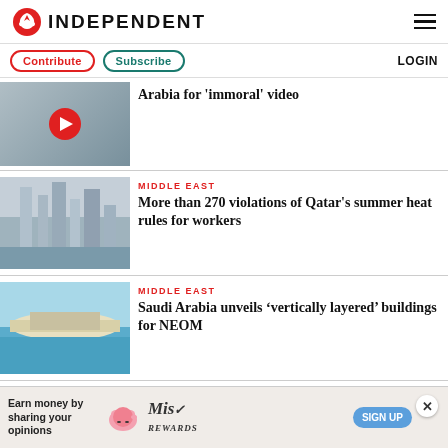INDEPENDENT
Contribute | Subscribe | LOGIN
[Figure (photo): Partial view of a person in a blue shirt with a video play button overlay]
Arabia for 'immoral' video
[Figure (photo): Skyline of Qatar with cranes and skyscrapers in hazy conditions]
MIDDLE EAST
More than 270 violations of Qatar’s summer heat rules for workers
[Figure (photo): Aerial view of Saudi Arabia coastline with turquoise water and sandy shore]
MIDDLE EAST
Saudi Arabia unveils ‘vertically layered’ buildings for NEOM
[Figure (infographic): Advertisement banner: Earn money by sharing your opinions - Miss Rewards sign up]